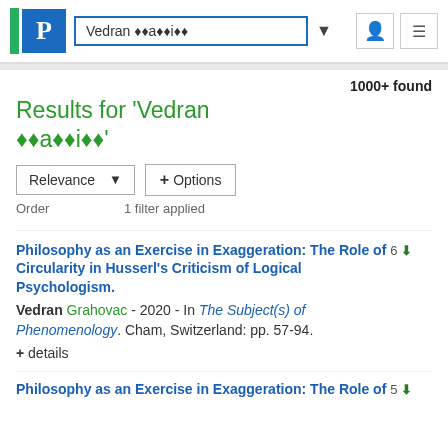Vedran ??a??i?? [search box with logo]
1000+ found
Results for 'Vedran ??a??i??'
Relevance  ▼   + Options
Order   1 filter applied
Philosophy as an Exercise in Exaggeration: The Role of  6 ⬇  Circularity in Husserl's Criticism of Logical Psychologism.
Vedran Grahovac - 2020 - In The Subject(s) of Phenomenology. Cham, Switzerland: pp. 57-94.
+ details
Philosophy as an Exercise in Exaggeration: The Role of  5 ⬇